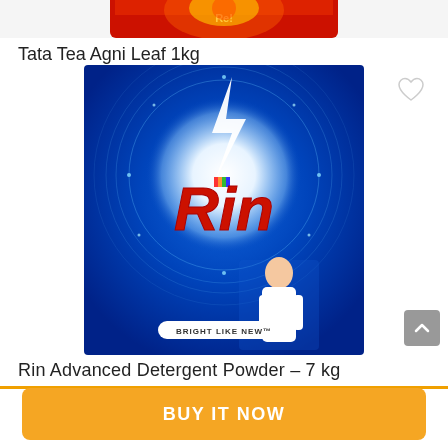[Figure (photo): Partial top view of Tata Tea Agni Leaf 1kg product package in red]
Tata Tea Agni Leaf 1kg
[Figure (photo): Rin Advanced Detergent Powder 7kg blue package with Rin logo and tagline BRIGHT LIKE NEW, with woman in white outfit]
Rin Advanced Detergent Powder – 7 kg
Rs. 399
BUY IT NOW